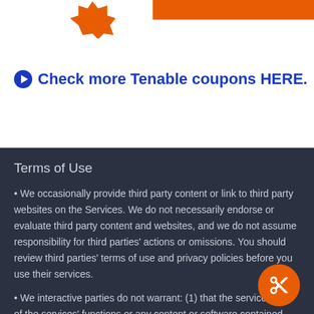[Figure (illustration): Orange starburst/badge shape at top left, orange horizontal bar at top right]
Check more Tenable coupons HERE.
Terms of Use
We occasionally provide third party content or link to third party websites on the Services. We do not necessarily endorse or evaluate third party content and websites, and we do not assume responsibility for third parties' actions or omissions. You should review third parties' terms of use and privacy policies before you use their services.
We interactive parties do not warrant: (1) that the services, any of the services' functions or any content or software contained therein will be uninterrupted or error-free; (2) that defects will be corrected; (3) that the services or the servers hosting them are